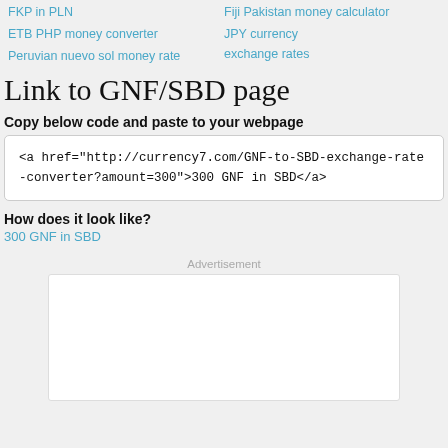FKP in PLN
ETB PHP money converter
Peruvian nuevo sol money rate
Fiji Pakistan money calculator
JPY currency exchange rates
Link to GNF/SBD page
Copy below code and paste to your webpage
<a href="http://currency7.com/GNF-to-SBD-exchange-rate-converter?amount=300">300 GNF in SBD</a>
How does it look like?
300 GNF in SBD
Advertisement